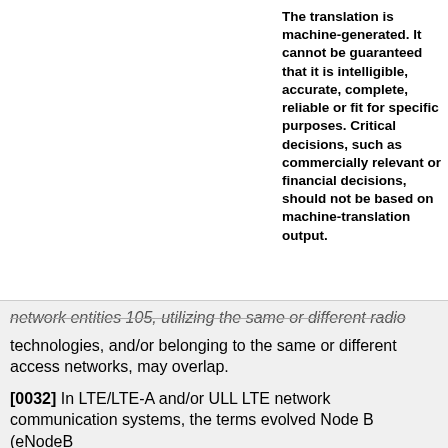The translation is machine-generated. It cannot be guaranteed that it is intelligible, accurate, complete, reliable or fit for specific purposes. Critical decisions, such as commercially relevant or financial decisions, should not be based on machine-translation output.
Translate this text into
[Figure (logo): Patent Translate logo - red box with arrows and text 'patenttranslate powered by EPO and Google']
network entities 105, utilizing the same or different radio technologies, and/or belonging to the same or different access networks, may overlap.
[0032] In LTE/LTE-A and/or ULL LTE network communication systems, the terms evolved Node B (eNodeB